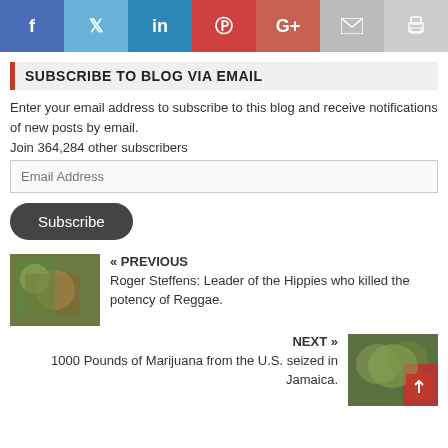[Figure (infographic): Social sharing bar with icons for Facebook, Twitter, LinkedIn, Pinterest, Google+, Email, and Print]
SUBSCRIBE TO BLOG VIA EMAIL
Enter your email address to subscribe to this blog and receive notifications of new posts by email.
Join 364,284 other subscribers
Email Address
Subscribe
« PREVIOUS
Roger Steffens: Leader of the Hippies who killed the potency of Reggae.
NEXT »
1000 Pounds of Marijuana from the U.S. seized in Jamaica.